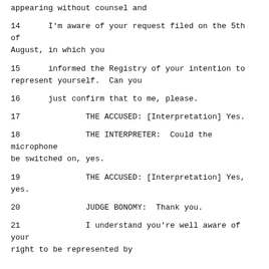appearing without counsel and
14      I'm aware of your request filed on the 5th of August, in which you
15      informed the Registry of your intention to represent yourself.  Can you
16      just confirm that to me, please.
17              THE ACCUSED: [Interpretation] Yes.
18              THE INTERPRETER:  Could the microphone be switched on, yes.
19              THE ACCUSED: [Interpretation] Yes, yes.
20              JUDGE BONOMY:  Thank you.
21              I understand you're well aware of your right to be represented by